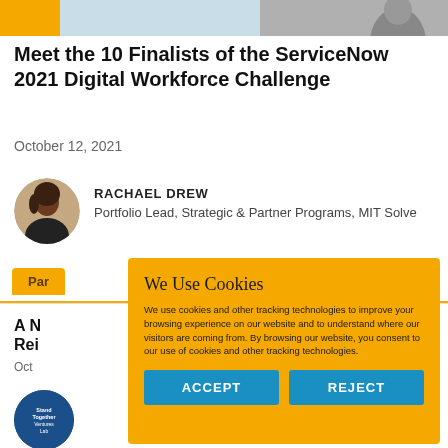[Figure (photo): Top strip with gold bar, light blue section, gray photo area with partial portrait at top]
Meet the 10 Finalists of the ServiceNow 2021 Digital Workforce Challenge
October 12, 2021
[Figure (photo): Circular avatar photo of Rachael Drew]
RACHAEL DREW
Portfolio Lead, Strategic & Partner Programs, MIT Solve
Par
A N...
Rei...
Oct
[Figure (logo): Circular blue logo with text Stand Together Ventures Lab]
We Use Cookies

We use cookies and other tracking technologies to improve your browsing experience on our website and to understand where our visitors are coming from. By browsing our website, you consent to our use of cookies and other tracking technologies.

ACCEPT   REJECT